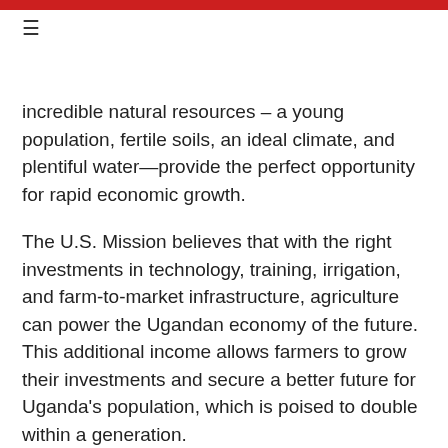≡
incredible natural resources – a young population, fertile soils, an ideal climate, and plentiful water—provide the perfect opportunity for rapid economic growth.
The U.S. Mission believes that with the right investments in technology, training, irrigation, and farm-to-market infrastructure, agriculture can power the Ugandan economy of the future. This additional income allows farmers to grow their investments and secure a better future for Uganda's population, which is poised to double within a generation.
We understand that agriculture will play a critical role if Uganda is going to achieve its vision of becoming a middle-income country. This is why we partnered with the American Chamber of Commerce in April to support the Generation Agripreneur Expo and Summit. The week-long